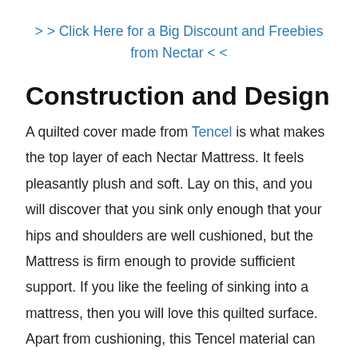>> Click Here for a Big Discount and Freebies from Nectar <<
Construction and Design
A quilted cover made from Tencel is what makes the top layer of each Nectar Mattress. It feels pleasantly plush and soft. Lay on this, and you will discover that you sink only enough that your hips and shoulders are well cushioned, but the Mattress is firm enough to provide sufficient support. If you like the feeling of sinking into a mattress, then you will love this quilted surface. Apart from cushioning, this Tencel material can